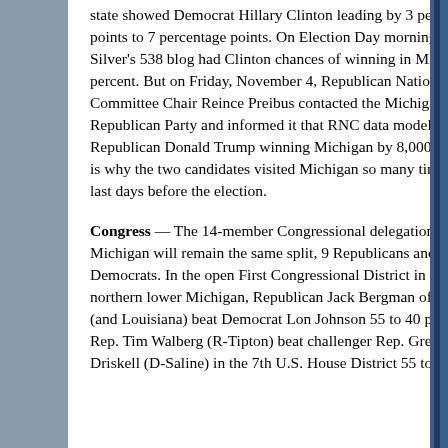state showed Democrat Hillary Clinton leading by 3 percentage points to 7 percentage points. On Election Day morning, Nate Silver's 538 blog had Clinton chances of winning in Michigan at 78 percent. But on Friday, November 4, Republican National Committee Chair Reince Preibus contacted the Michigan Republican Party and informed it that RNC data modeling showed Republican Donald Trump winning Michigan by 8,000 votes, which is why the two candidates visited Michigan so many times in those last days before the election.
Congress — The 14-member Congressional delegation from Michigan will remain the same split, 9 Republicans and 5 Democrats. In the open First Congressional District in the U.P. and northern lower Michigan, Republican Jack Bergman of Watersmeet (and Louisiana) beat Democrat Lon Johnson 55 to 40 percent. U.S. Rep. Tim Walberg (R-Tipton) beat challenger Rep. Gretchen Driskell (D-Saline) in the 7th U.S. House District 55 to 40